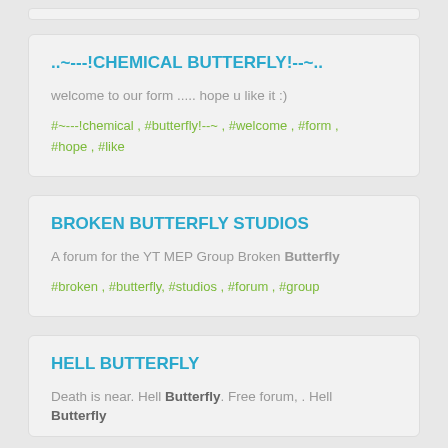..~---!CHEMICAL BUTTERFLY!--~..
welcome to our form ..... hope u like it :)
#~---!chemical , #butterfly!--~ , #welcome , #form , #hope , #like
BROKEN BUTTERFLY STUDIOS
A forum for the YT MEP Group Broken Butterfly
#broken , #butterfly, #studios , #forum , #group
HELL BUTTERFLY
Death is near. Hell Butterfly. Free forum, . Hell Butterfly